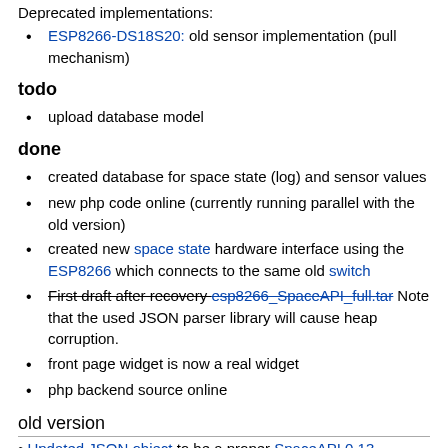Deprecated implementations:
ESP8266-DS18S20: old sensor implementation (pull mechanism)
todo
upload database model
done
created database for space state (log) and sensor values
new php code online (currently running parallel with the old version)
created new space state hardware interface using the ESP8266 which connects to the same old switch
First draft after recovery esp8266_SpaceAPI_full.tar Note that the used JSON parser library will cause heap corruption.
front page widget is now a real widget
php backend source online
old version
Updated JSON object to be a proper SpaceAPI 0.13 compliant...